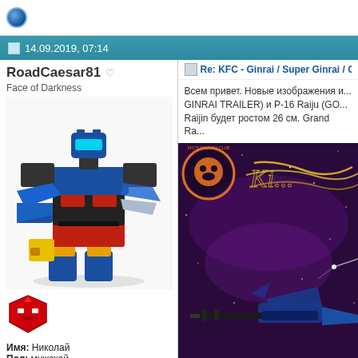[Figure (screenshot): Forum page with blue circular icon at top left]
14.09.2019, 07:14
RoadCaesar81
Face of Darkness
[Figure (photo): Transformers toy figure combination - blue, red, yellow and black robots combined]
[Figure (illustration): Red Autobot logo icon]
Имя: Николай
Пол: мужской
Re: KFC - Ginrai / Super Ginrai / God Gi...
Всем привет. Новые изображения и... GINRAI TRAILER) и P-16 Raiju (GO... Raijin будет ростом 26 см. Grand Ra...
[Figure (photo): KFC Fantasy Club promotional image with purple starfield background, gold cursive text, and a blue/black vehicle figure. Orange/white KFC club logo in upper left.]